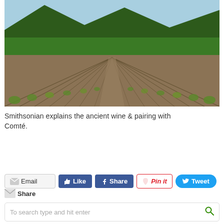[Figure (photo): Rows of grapevines stretching into the distance in a vineyard, with mountains and forest in the background under a blue sky.]
Smithsonian explains the ancient wine & pairing with Comté.
Read more...
Email Share | Like | Share | Pin it | Tweet
To search type and hit enter